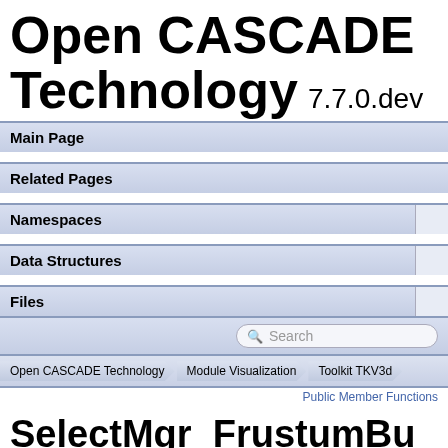Open CASCADE Technology 7.7.0.dev
Main Page
Related Pages
Namespaces
Data Structures
Files
Open CASCADE Technology › Module Visualization › Toolkit TKV3d
Public Member Functions
SelectMgr_FrustumBuilder Class Reference